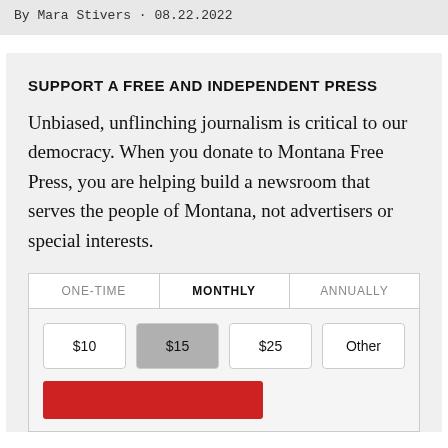By Mara Stivers · 08.22.2022
SUPPORT A FREE AND INDEPENDENT PRESS
Unbiased, unflinching journalism is critical to our democracy. When you donate to Montana Free Press, you are helping build a newsroom that serves the people of Montana, not advertisers or special interests.
| ONE-TIME | MONTHLY | ANNUALLY |
| --- | --- | --- |
| $10 | $15 | $25 | Other |